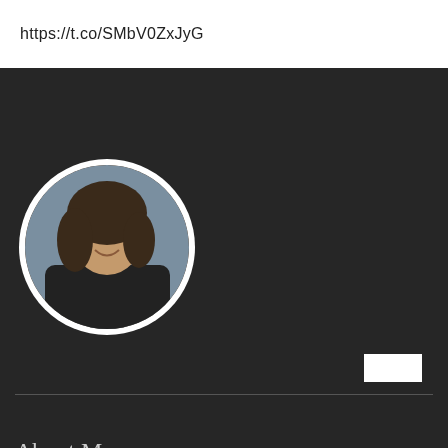https://t.co/SMbV0ZxJyG
[Figure (photo): Circular profile photo of a woman smiling, wearing a dark blazer, with wavy hair, against a blue-gray background]
About Me
Mother, Granny, Entrepreneur, Author,